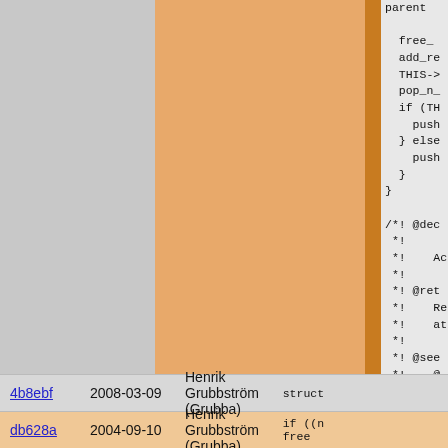[Figure (screenshot): Code diff/blame view showing source code with column layout: left gray column (blame info), center orange highlighted column, orange border, right gray column with code. Code shows C/Pike source with free_, add_re, THIS->, pop_n_, if/else blocks, comments with @dec, @ret, @see tags, PIKEFUN, struct keywords.]
4b8ebf   2008-03-09   Henrik Grubbström (Grubba)   struct
db628a   2004-09-10   Henrik Grubbström (Grubba)   if ((n
    free